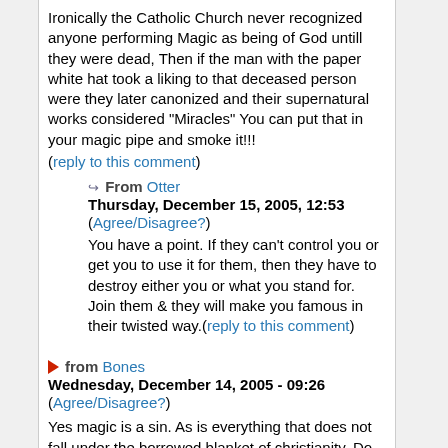Ironically the Catholic Church never recognized anyone performing Magic as being of God untill they were dead, Then if the man with the paper white hat took a liking to that deceased person were they later canonized and their supernatural works considered "Miracles" You can put that in your magic pipe and smoke it!!!
(reply to this comment)
↪ From Otter
Thursday, December 15, 2005, 12:53
(Agree/Disagree?)
You have a point. If they can't control you or get you to use it for them, then they have to destroy either you or what you stand for. Join them & they will make you famous in their twisted way.(reply to this comment)
▶ from Bones
Wednesday, December 14, 2005 - 09:26
(Agree/Disagree?)
Yes magic is a sin. As is everything that does not fall under the borrowed blanket of christianity. Do some research and you will find that christianity cannot attest to the ownership of any of it's celebrations or hollidays, and few stories and customs. Christianity is illegitimate. The story of a child born to a virgin, dying, and being resurrected, belongs to the babylonians long before the birth of Jesus ( look up Isis & Osiris )